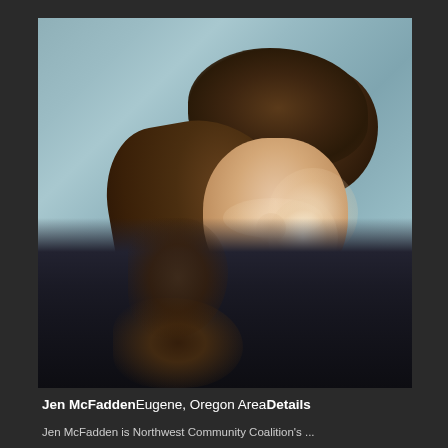[Figure (photo): Professional headshot of a woman with curly brown hair pulled back, wearing a dark blazer over a light top, laughing/smiling with head tilted down. Blue-grey background.]
Jen McFaddenEugene, Oregon AreaDetails
Jen McFadden is Northwest Community Coalition's ...